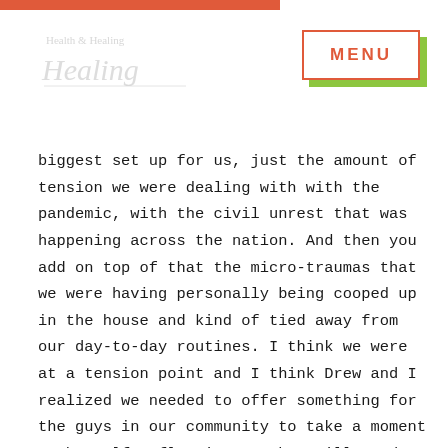[Figure (logo): Health and Healing cursive logo in light gray]
MENU
biggest set up for us, just the amount of tension we were dealing with with the pandemic, with the civil unrest that was happening across the nation. And then you add on top of that the micro-traumas that we were having personally being cooped up in the house and kind of tied away from our day-to-day routines. I think we were at a tension point and I think Drew and I realized we needed to offer something for the guys in our community to take a moment to be self-reflective, to be still. And what I found interesting was, even though yoga was the entry point into this